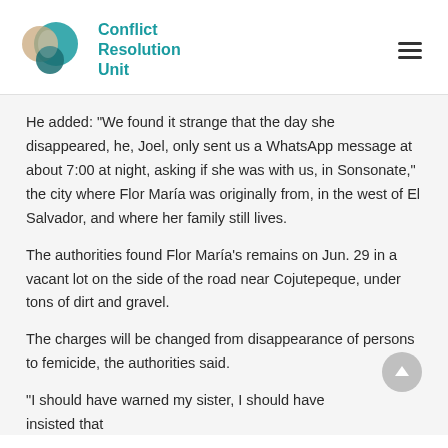Conflict Resolution Unit
He added: “We found it strange that the day she disappeared, he, Joel, only sent us a WhatsApp message at about 7:00 at night, asking if she was with us, in Sonsonate,” the city where Flor María was originally from, in the west of El Salvador, and where her family still lives.
The authorities found Flor María’s remains on Jun. 29 in a vacant lot on the side of the road near Cojutepeque, under tons of dirt and gravel.
The charges will be changed from disappearance of persons to femicide, the authorities said.
“I should have warned my sister, I should have insisted that